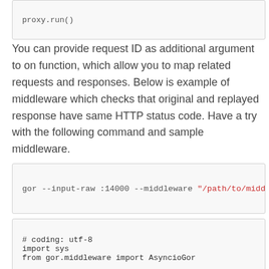[Figure (screenshot): Code block showing 'proxy.run()' in monospace font on light gray background]
You can provide request ID as additional argument to on function, which allow you to map related requests and responses. Below is example of middleware which checks that original and replayed response have same HTTP status code. Have a try with the following command and sample middleware.
[Figure (screenshot): Command line code block: gor --input-raw :14000 --middleware "/path/to/midd]
[Figure (screenshot): Python code block showing: # coding: utf-8, import sys, from gor.middleware import AsyncioGor, def on_request(proxy, msg, **kwargs): proxy.on('response', on_response, idx=msg.id,, def on_response(proxy, msg, **kwargs):]